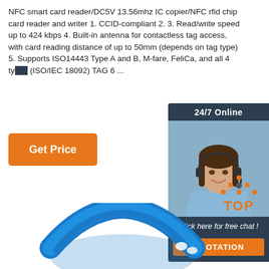NFC smart card reader/DC5V 13.56mhz IC copier/NFC rfid chip card reader and writer 1. CCID-compliant 2. 3. Read/write speed up to 424 kbps 4. Built-in antenna for contactless tag access, with card reading distance of up to 50mm (depends on tag type) 5. Supports ISO14443 Type A and B, M-fare, FeliCa, and all 4 ty... (ISO/IEC 18092) TAG 6 ...
Get Price
[Figure (screenshot): 24/7 Online chat widget with a customer service representative photo, 'Click here for free chat!' text and QUOTATION button]
[Figure (logo): TOP logo with orange dots arranged in a triangle above the word TOP in orange letters]
[Figure (photo): Blue RFID wristband product photo at the bottom of the page]